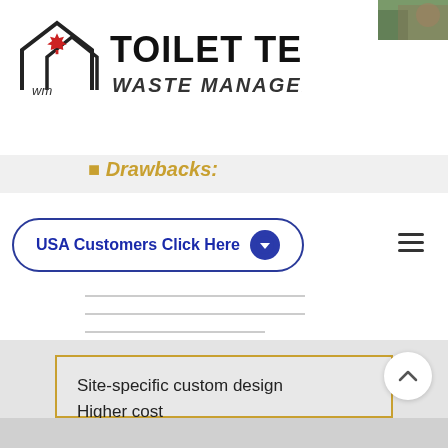[Figure (logo): Toilet Tech Waste Management logo with house/roof icon and maple leaf, text 'TOILET TECH WASTE MANAGEMENT']
Drawbacks:
USA Customers Click Here
Site-specific custom design
Higher cost
Trailheads; campgrounds; backcountry
DCV or custom